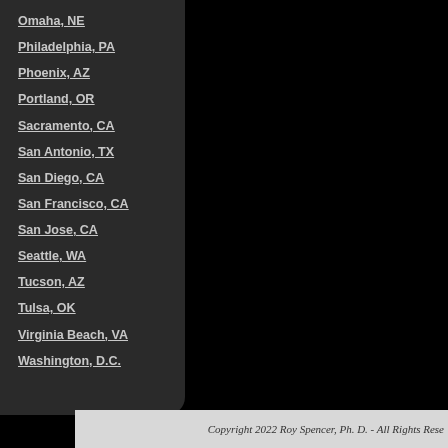Omaha, NE
Philadelphia, PA
Phoenix, AZ
Portland, OR
Sacramento, CA
San Antonio, TX
San Diego, CA
San Francisco, CA
San Jose, CA
Seattle, WA
Tucson, AZ
Tulsa, OK
Virginia Beach, VA
Washington, D.C.
Copyright 2022 Roy Spencer, Ph. D. - All Rights Rese...